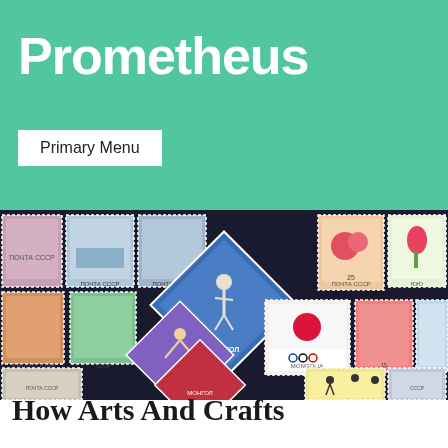Prometheus
Primary Menu
[Figure (photo): A collage of colorful vintage postage stamps from various countries including USSR and Mongolia, featuring sports, flowers, and Olympic themes.]
How Arts And Crafts Can Enrich Your Life